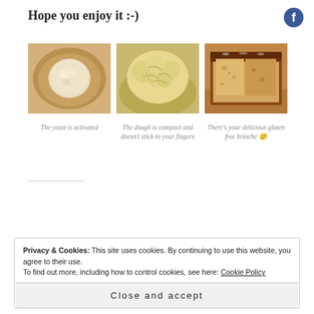Hope you enjoy it :-)
[Figure (photo): Three food preparation photos: yeast activated in a bowl, compact dough ball, and a sliced gluten free brioche loaf]
The yeast is activated
The dough is compact and doesn't stick to your fingers
There's your delicious gluten free brioche 🙂
Privacy & Cookies: This site uses cookies. By continuing to use this website, you agree to their use.
To find out more, including how to control cookies, see here: Cookie Policy
Close and accept